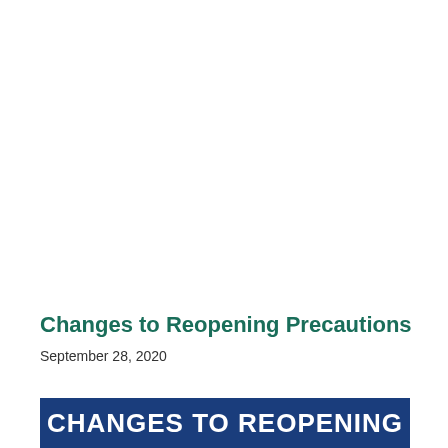[Figure (other): Decorative red and blue horizontal bars forming a header divider]
Changes to Reopening Precautions
September 28, 2020
[Figure (other): Dark blue banner with white bold text reading CHANGES TO REOPENING]